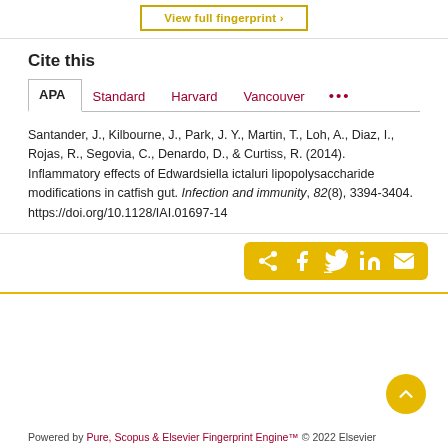[Figure (other): View full fingerprint button (partially visible at top)]
Cite this
APA   Standard   Harvard   Vancouver   ...
Santander, J., Kilbourne, J., Park, J. Y., Martin, T., Loh, A., Diaz, I., Rojas, R., Segovia, C., Denardo, D., & Curtiss, R. (2014). Inflammatory effects of Edwardsiella ictaluri lipopolysaccharide modifications in catfish gut. Infection and immunity, 82(8), 3394-3404. https://doi.org/10.1128/IAI.01697-14
[Figure (other): Share icons bar with social media buttons: share, Facebook, Twitter, LinkedIn, email]
Powered by Pure, Scopus & Elsevier Fingerprint Engine™ © 2022 Elsevier